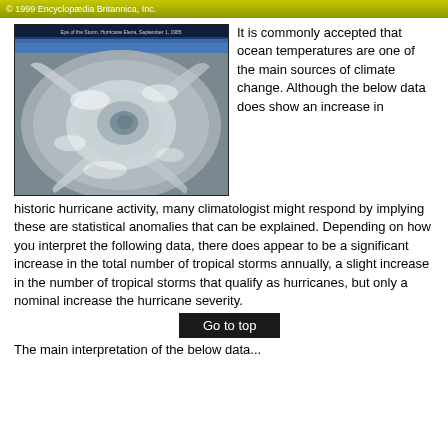© 1999 Encyclopaedia Britannica, Inc.
[Figure (photo): Aerial/satellite photograph of a hurricane eye, showing swirling cloud formations. Caption reads: Eye of the Storm, Hurricane Elena, September 1, 1985]
It is commonly accepted that ocean temperatures are one of the main sources of climate change. Although the below data does show an increase in historic hurricane activity, many climatologist might respond by implying these are statistical anomalies that can be explained. Depending on how you interpret the following data, there does appear to be a significant increase in the total number of tropical storms annually, a slight increase in the number of tropical storms that qualify as hurricanes, but only a nominal increase the hurricane severity.
Go to top
The main interpretation of the below data...